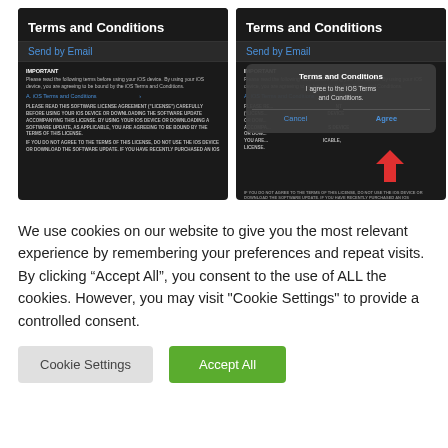[Figure (screenshot): Two side-by-side iOS screenshots showing Terms and Conditions screen. Left screenshot shows the terms page with 'Send by Email' option, IMPORTANT notice, iOS Terms and Conditions link, and software license agreement text. Right screenshot shows the same page but with a modal dialog overlay titled 'Terms and Conditions' with text 'I agree to the iOS Terms and Conditions' and Cancel/Agree buttons, with a red arrow pointing to the Agree button.]
We use cookies on our website to give you the most relevant experience by remembering your preferences and repeat visits. By clicking “Accept All”, you consent to the use of ALL the cookies. However, you may visit "Cookie Settings" to provide a controlled consent.
Cookie Settings
Accept All